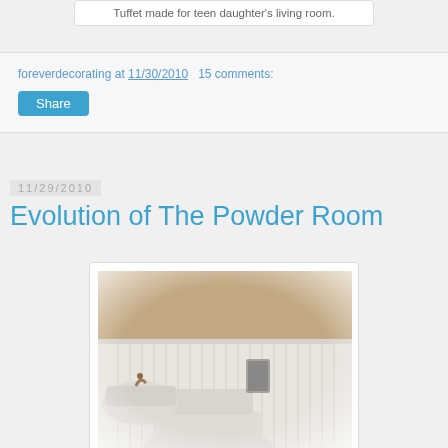Tuffet made for teen daughter's living room.
foreverdecorating at 11/30/2010   15 comments:
Share
11/29/2010
Evolution of The Powder Room
[Figure (photo): Photo of a powder room showing a white toilet, corner sink with bronze faucet, white beadboard wainscoting, and a small decorative item on the wall shelf. The upper wall appears to be a warm tan/brown color.]